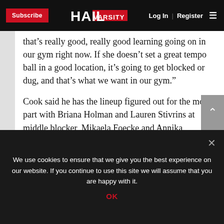Subscribe | HAIL VARSITY | Log In | Register
that’s really good, really good learning going on in our gym right now. If she doesn’t set a great tempo ball in a good location, it’s going to get blocked or dug, and that’s what we want in our gym.”
Cook said he has the lineup figured out for the most part with Briana Holman and Lauren Stivrins at middle blocker, Mikaela Foecke and Annika Albrecht at two outside hitter spots, Kenzie Maloney at libero and Atherton at setter. The biggest decision still to come is who will play right side hitter.
We use cookies to ensure that we give you the best experience on our website. If you continue to use this site we will assume that you are happy with it.
OK